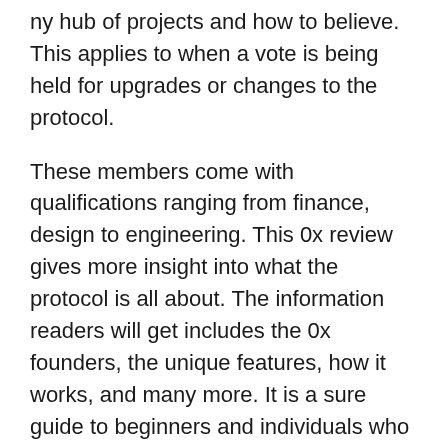ny hub of projects and how to believe. This applies to when a vote is being held for upgrades or changes to the protocol.
These members come with qualifications ranging from finance, design to engineering. This 0x review gives more insight into what the protocol is all about. The information readers will get includes the 0x founders, the unique features, how it works, and many more. It is a sure guide to beginners and individuals who wish to know more about the protocol. Blockchain technology has given many people the opportunity to attain financial freedom through its global DeFi system.
It is like future-proofing a protocol implemented within a stable system of smart contracts via